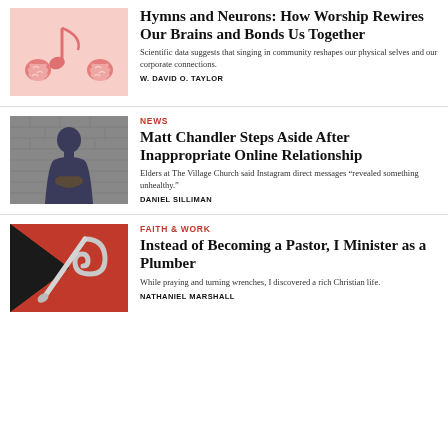[Figure (illustration): Pink background with musical note and brain icons illustration]
Hymns and Neurons: How Worship Rewires Our Brains and Bonds Us Together
Scientific data suggests that singing in community reshapes our physical selves and our corporate connections.
W. DAVID O. TAYLOR
[Figure (photo): Photo of a man with hands clasped, standing against a brick wall background]
NEWS
Matt Chandler Steps Aside After Inappropriate Online Relationship
Elders at The Village Church said Instagram direct messages “revealed something unhealthy.”
DANIEL SILLIMAN
[Figure (illustration): Red and black background with a plumber's hook/snake tool illustration]
FAITH & WORK
Instead of Becoming a Pastor, I Minister as a Plumber
While praying and turning wrenches, I discovered a rich Christian life.
NATHANIEL MARSHALL